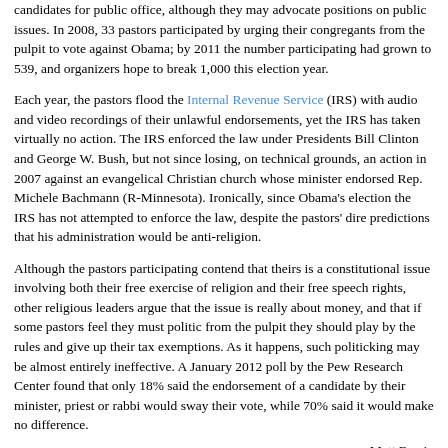candidates for public office, although they may advocate positions on public issues. In 2008, 33 pastors participated by urging their congregants from the pulpit to vote against Obama; by 2011 the number participating had grown to 539, and organizers hope to break 1,000 this election year.
Each year, the pastors flood the Internal Revenue Service (IRS) with audio and video recordings of their unlawful endorsements, yet the IRS has taken virtually no action. The IRS enforced the law under Presidents Bill Clinton and George W. Bush, but not since losing, on technical grounds, an action in 2007 against an evangelical Christian church whose minister endorsed Rep. Michele Bachmann (R-Minnesota). Ironically, since Obama's election the IRS has not attempted to enforce the law, despite the pastors' dire predictions that his administration would be anti-religion.
Although the pastors participating contend that theirs is a constitutional issue involving both their free exercise of religion and their free speech rights, other religious leaders argue that the issue is really about money, and that if some pastors feel they must politic from the pulpit they should play by the rules and give up their tax exemptions. As it happens, such politicking may be almost entirely ineffective. A January 2012 poll by the Pew Research Center found that only 18% said the endorsement of a candidate by their minister, priest or rabbi would sway their vote, while 70% said it would make no difference.
-Matt Bewig